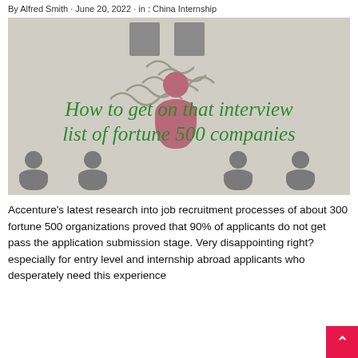By Alfred Smith · June 20, 2022 · in : China Internship
[Figure (illustration): Infographic-style illustration with a beige/gray background showing silhouettes of people (small gray figures at the bottom and a larger pink/mauve person in the center), two gray rectangles at the top resembling buildings, wavy lines suggesting steam or heat, and large green cursive text reading 'How to get on that interview list of fortune 500 companies']
Accenture's latest research into job recruitment processes of about 300 fortune 500 organizations proved that 90% of applicants do not get pass the application submission stage. Very disappointing right? especially for entry level and internship abroad applicants who desperately need this experience